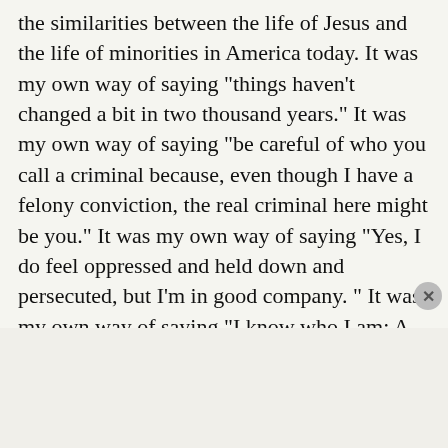the similarities between the life of Jesus and the life of minorities in America today. It was my own way of saying “things haven’t changed a bit in two thousand years.” It was my own way of saying “be careful of who you call a criminal because, even though I have a felony conviction, the real criminal here might be you.” It was my own way of saying “Yes, I do feel oppressed and held down and persecuted, but I’m in good company. ” It was my own way of saying “I know who I am: A son of God.”
4. Scary Prison Moments (#1): This really was a
Advertisements
[Figure (other): DuckDuckGo advertisement banner: orange left panel with text 'Search, browse, and email with more privacy. All in One Free App', dark right panel with DuckDuckGo duck logo and brand name.]